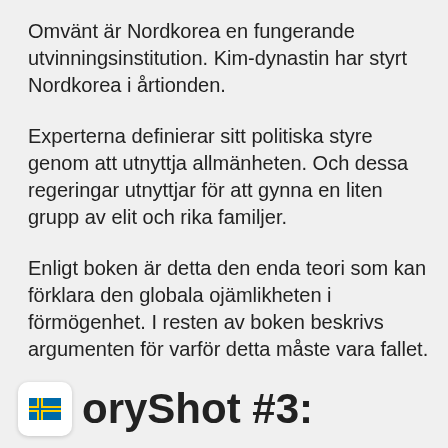Omvänt är Nordkorea en fungerande utvinningsinstitution. Kim-dynastin har styrt Nordkorea i årtionden.
Experterna definierar sitt politiska styre genom att utnyttja allmänheten. Och dessa regeringar utnyttjar för att gynna en liten grupp av elit och rika familjer.
Enligt boken är detta den enda teori som kan förklara den globala ojämlikheten i förmögenhet. I resten av boken beskrivs argumenten för varför detta måste vara fallet.
oryShot #3: